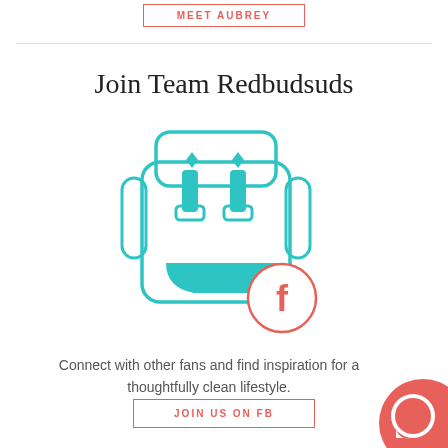MEET AUBREY
Join Team Redbudsuds
[Figure (illustration): Teal outline backpack illustration with teal buckles and straps, red front pocket, and a circular Facebook 'f' logo badge overlapping the bottom-right of the backpack]
Connect with other fans and find inspiration for a thoughtfully clean lifestyle.
JOIN US ON FB